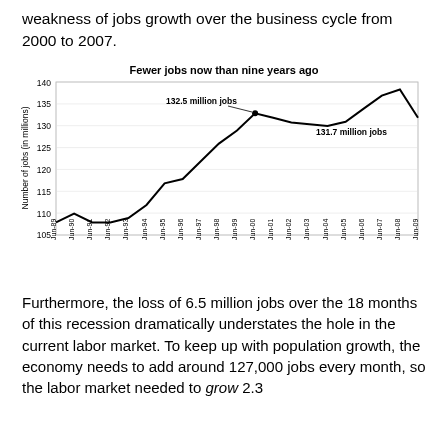weakness of jobs growth over the business cycle from 2000 to 2007.
[Figure (line-chart): Fewer jobs now than nine years ago]
Furthermore, the loss of 6.5 million jobs over the 18 months of this recession dramatically understates the hole in the current labor market. To keep up with population growth, the economy needs to add around 127,000 jobs every month, so the labor market needed to grow 2.3 million jobs more to start this recession.